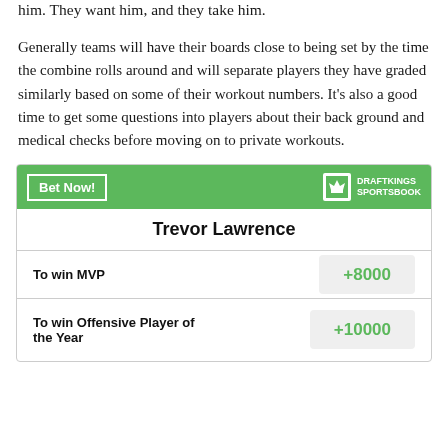him. They want him, and they take him.
Generally teams will have their boards close to being set by the time the combine rolls around and will separate players they have graded similarly based on some of their workout numbers. It's also a good time to get some questions into players about their back ground and medical checks before moving on to private workouts.
|  |  |
| --- | --- |
| Trevor Lawrence |  |
| To win MVP | +8000 |
| To win Offensive Player of the Year | +10000 |